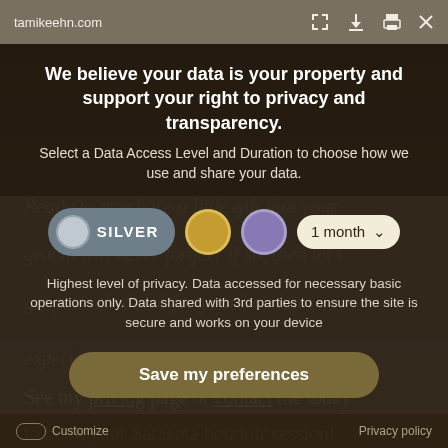tamikeehn.com
We believe your data is your property and support your right to privacy and transparency.
Select a Data Access Level and Duration to choose how we use and share your data.
SILVER  [gold circle]  [purple circle]  1 month ▾
Highest level of privacy. Data accessed for necessary basic operations only. Data shared with 3rd parties to ensure the site is secure and works on your device
Save my preferences
See my pricing page or contact me today to book your Sarasota boudoir session!
Customize   Privacy policy